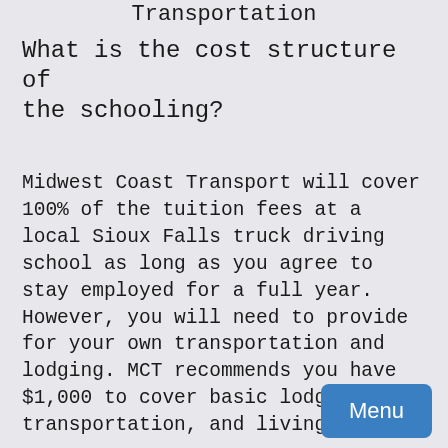Transportation
What is the cost structure of the schooling?
Midwest Coast Transport will cover 100% of the tuition fees at a local Sioux Falls truck driving school as long as you agree to stay employed for a full year. However, you will need to provide for your own transportation and lodging. MCT recommends you have $1,000 to cover basic lodging, transportation, and living expen